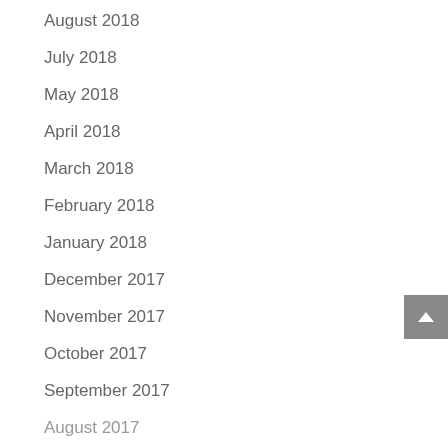August 2018
July 2018
May 2018
April 2018
March 2018
February 2018
January 2018
December 2017
November 2017
October 2017
September 2017
August 2017